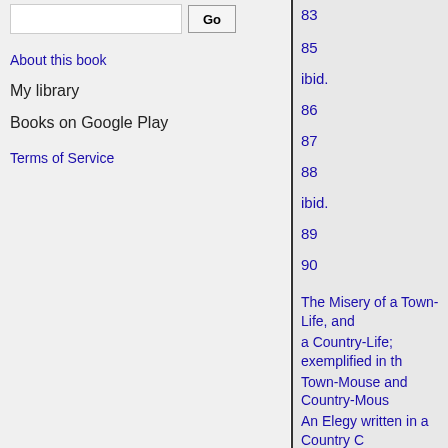[search input] Go
About this book
My library
Books on Google Play
Terms of Service
83
85
ibid.
86
87
88
ibid.
89
90
The Misery of a Town-Life, and
a Country-Life; exemplified in th
Town-Mouse and Country-Mous
An Elegy written in a Country C
Hymn to Adversity
Ode on a distant Prospect of Eto
Ode on the Death of a favourite
of Gold Fishes.